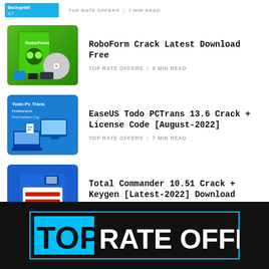TOP RATE OFFERS | 7 MIN READ
[Figure (illustration): RoboForm software box and CD product image on green background]
RoboForm Crack Latest Download Free
TOP RATE OFFERS | 8 MIN READ
[Figure (illustration): EaseUS Todo PC Trans blue banner with ProCrackerz.Org branding and computer/device illustration]
EaseUS Todo PCTrans 13.6 Crack + License Code [August-2022]
TOP RATE OFFERS | 7 MIN READ
[Figure (illustration): Blue floppy disk illustration with red horizontal lines and procrackerz.org text]
Total Commander 10.51 Crack + Keygen [Latest-2022] Download
TOP RATE OFFERS | 8 MIN READ
[Figure (logo): TOP RATE OFFERS logo on dark background with cyan border: TOP in cyan highlight, RATE OFFERS in white bold text]